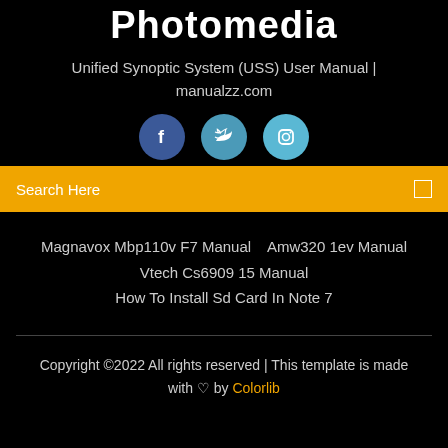Photomedia
Unified Synoptic System (USS) User Manual | manualzz.com
[Figure (illustration): Three social media icon circles: Facebook (dark blue), Twitter (medium blue), Instagram (light blue)]
Search Here
Magnavox Mbp110v F7 Manual   Amw320 1ev Manual
Vtech Cs6909 15 Manual
How To Install Sd Card In Note 7
Copyright ©2022 All rights reserved | This template is made with ♡ by Colorlib